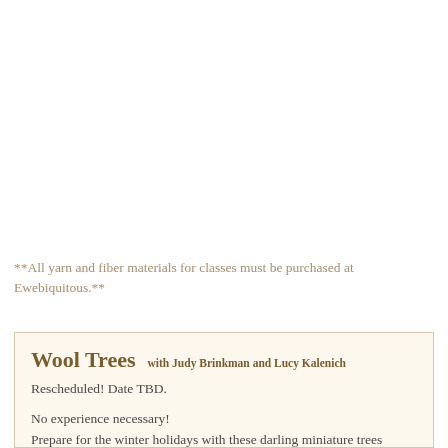**All yarn and fiber materials for classes must be purchased at Ewebiquitous.**
Wool Trees with Judy Brinkman and Lucy Kalenich
Rescheduled! Date TBD.

No experience necessary!
Prepare for the winter holidays with these darling miniature trees (about 15 inches tall). All tools and materials will be provided and